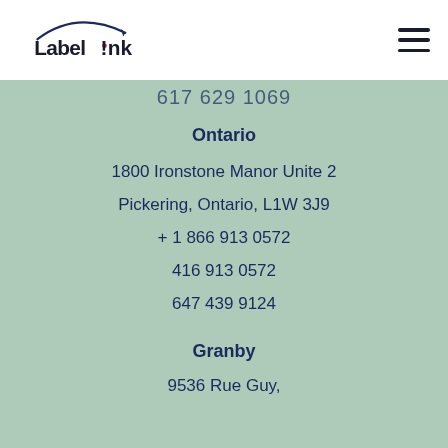[Figure (logo): Labelink logo with swoosh arc above text]
617 629 1069
Ontario
1800 Ironstone Manor Unite 2
Pickering, Ontario, L1W 3J9
+ 1 866 913 0572
416 913 0572
647 439 9124
Granby
9536 Rue Guy,